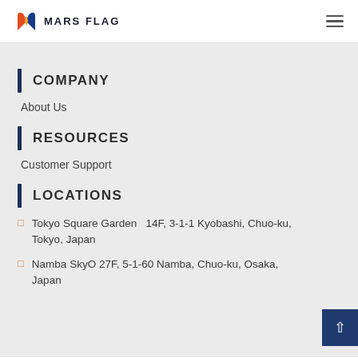MARS FLAG
COMPANY
About Us
RESOURCES
Customer Support
LOCATIONS
Tokyo Square Garden  14F, 3-1-1 Kyobashi, Chuo-ku, Tokyo, Japan
Namba SkyO 27F, 5-1-60 Namba, Chuo-ku, Osaka, Japan